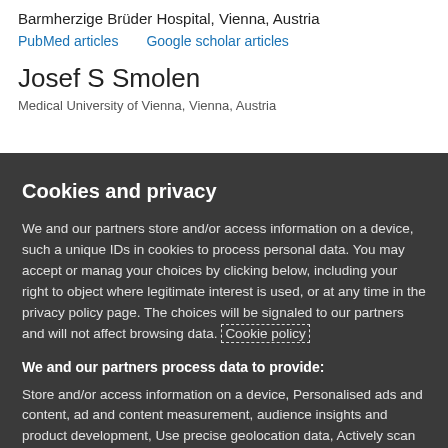Barmherzige Brüder Hospital, Vienna, Austria
PubMed articles    Google scholar articles
Josef S Smolen
Cookies and privacy
We and our partners store and/or access information on a device, such as unique IDs in cookies to process personal data. You may accept or manage your choices by clicking below, including your right to object where legitimate interest is used, or at any time in the privacy policy page. These choices will be signaled to our partners and will not affect browsing data. Cookie policy
We and our partners process data to provide:
Store and/or access information on a device, Personalised ads and content, ad and content measurement, audience insights and product development, Use precise geolocation data, Actively scan device characteristics for identification
List of Partners (vendors)
I Accept